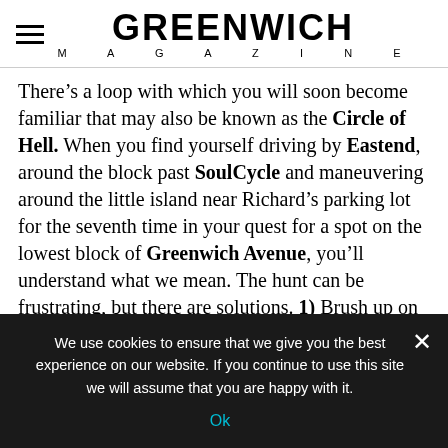GREENWICH MAGAZINE
There’s a loop with which you will soon become familiar that may also be known as the Circle of Hell. When you find yourself driving by Eastend, around the block past SoulCycle and maneuvering around the little island near Richard’s parking lot for the seventh time in your quest for a spot on the lowest block of Greenwich Avenue, you’ll understand what we mean. The hunt can be frustrating, but there are solutions. 1) Brush up on your parallel parking skills (easy if
We use cookies to ensure that we give you the best experience on our website. If you continue to use this site we will assume that you are happy with it.
Ok